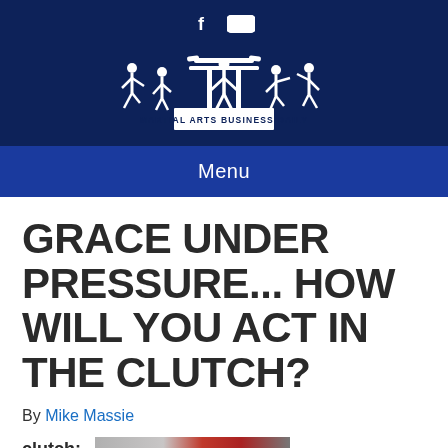[Figure (logo): Martial Arts Business Daily logo with silhouettes of martial artists and a torii gate above the text 'MARTIAL ARTS BUSINESS DAILY']
Menu
GRACE UNDER PRESSURE... HOW WILL YOU ACT IN THE CLUTCH?
By Mike Massie
clutch: